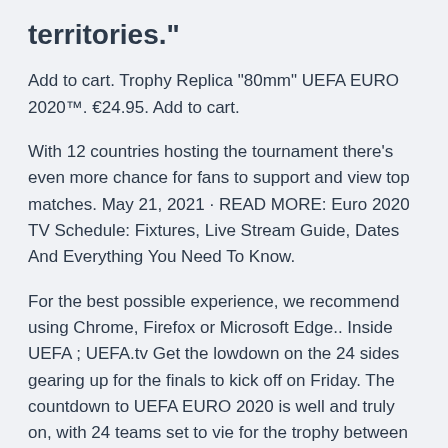territories."
Add to cart. Trophy Replica "80mm" UEFA EURO 2020™. €24.95. Add to cart.
With 12 countries hosting the tournament there's even more chance for fans to support and view top matches. May 21, 2021 · READ MORE: Euro 2020 TV Schedule: Fixtures, Live Stream Guide, Dates And Everything You Need To Know.
For the best possible experience, we recommend using Chrome, Firefox or Microsoft Edge.. Inside UEFA ; UEFA.tv Get the lowdown on the 24 sides gearing up for the finals to kick off on Friday. The countdown to UEFA EURO 2020 is well and truly on, with 24 teams set to vie for the trophy between 11 June and Official UEFA EURO history. Some readers may consider the